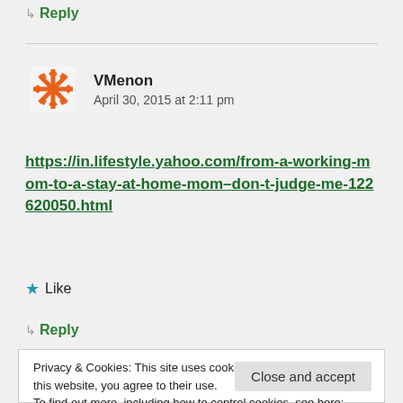↳ Reply
VMenon
April 30, 2015 at 2:11 pm
https://in.lifestyle.yahoo.com/from-a-working-mom-to-a-stay-at-home-mom-don-t-judge-me-122620050.html
★ Like
↳ Reply
Privacy & Cookies: This site uses cookies. By continuing to use this website, you agree to their use.
To find out more, including how to control cookies, see here:
Cookie Policy
Close and accept
Most of our old generation mom's were SAHM...